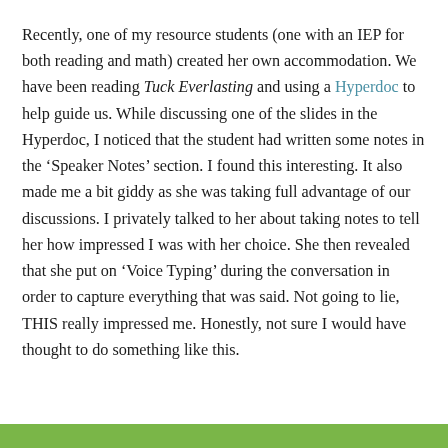Recently, one of my resource students (one with an IEP for both reading and math) created her own accommodation. We have been reading Tuck Everlasting and using a Hyperdoc to help guide us. While discussing one of the slides in the Hyperdoc, I noticed that the student had written some notes in the ‘Speaker Notes’ section. I found this interesting. It also made me a bit giddy as she was taking full advantage of our discussions. I privately talked to her about taking notes to tell her how impressed I was with her choice. She then revealed that she put on ‘Voice Typing’ during the conversation in order to capture everything that was said. Not going to lie, THIS really impressed me. Honestly, not sure I would have thought to do something like this.